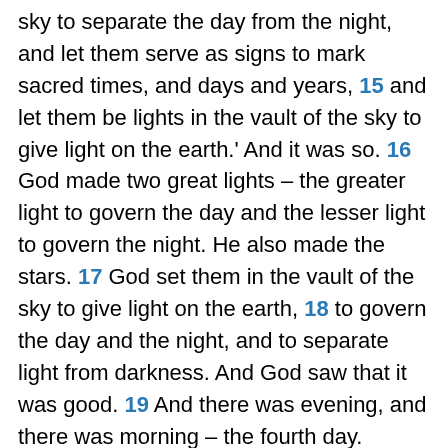sky to separate the day from the night, and let them serve as signs to mark sacred times, and days and years, 15 and let them be lights in the vault of the sky to give light on the earth.' And it was so. 16 God made two great lights – the greater light to govern the day and the lesser light to govern the night. He also made the stars. 17 God set them in the vault of the sky to give light on the earth, 18 to govern the day and the night, and to separate light from darkness. And God saw that it was good. 19 And there was evening, and there was morning – the fourth day.
20 And God said, 'Let the water teem with living creatures, and let birds fly above the earth across the vault of the sky.' 21 So God created the great creatures of the sea and every living thing with which the water teems and that moves about in it, according to their kinds, and every winged bird according to its kind. And God saw that it was good. 22 God blessed them and said, 'Be fruitful and increase in number and fill the water in the seas, and let